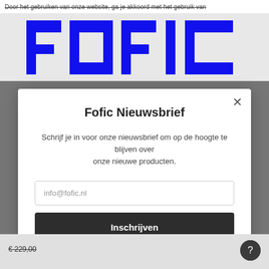Door het gebruiken van onze website, ga je akkoord met het gebruik van
[Figure (logo): FOFIC logo in bold blue letters on light gray background]
Fofic Nieuwsbrief
Schrijf je in voor onze nieuwsbrief om op de hoogte te blijven over onze nieuwe producten.
info@fofic.nl
Inschrijven
€ 229,00